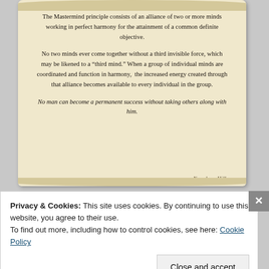The Mastermind principle consists of an alliance of two or more minds working in perfect harmony for the attainment of a common definite objective.
No two minds ever come together without a third invisible force, which may be likened to a “third mind.” When a group of individual minds are coordinated and function in harmony, the increased energy created through that alliance becomes available to every individual in the group.
No man can become a permanent success without taking others along with him.
Whatsoever the mind can conceive and believe, the mind can achieve.
[Figure (illustration): Bottom portion of a parchment scroll with a small sailing ship illustration on the left]
Privacy & Cookies: This site uses cookies. By continuing to use this website, you agree to their use. To find out more, including how to control cookies, see here: Cookie Policy
Close and accept